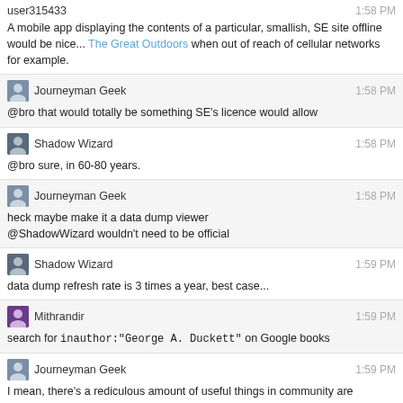user315433 1:58 PM
A mobile app displaying the contents of a particular, smallish, SE site offline would be nice... The Great Outdoors when out of reach of cellular networks for example.
Journeyman Geek 1:58 PM
@bro that would totally be something SE's licence would allow
Shadow Wizard 1:58 PM
@bro sure, in 60-80 years.
Journeyman Geek 1:58 PM
heck maybe make it a data dump viewer
@ShadowWizard wouldn't need to be official
Shadow Wizard 1:59 PM
data dump refresh rate is 3 times a year, best case...
Mithrandir 1:59 PM
search for inauthor:"George A. Duckett" on Google books
Journeyman Geek 1:59 PM
I mean, there's a rediculous amount of useful things in community are unofficial.
or that.
dosen't he use data dumps too?
user315433 2:03 PM
@Mithrandir Nothing for TGO.SE :( he's mostly bundling popular tags on the larger sites, not small betas